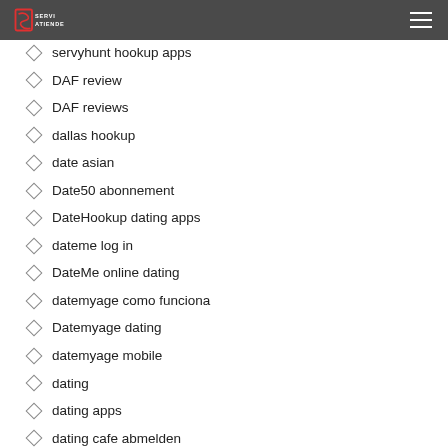SERVIATIENDE
servyhunt hookup apps
DAF review
DAF reviews
dallas hookup
date asian
Date50 abonnement
DateHookup dating apps
dateme log in
DateMe online dating
datemyage como funciona
Datemyage dating
datemyage mobile
dating
dating apps
dating cafe abmelden
dating cafe preise
dating for seniors mobile site